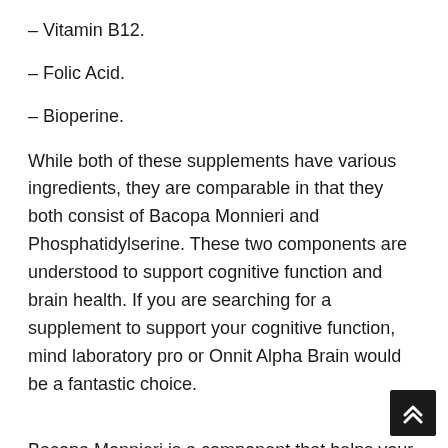– Vitamin B12.
– Folic Acid.
– Bioperine.
While both of these supplements have various ingredients, they are comparable in that they both consist of Bacopa Monnieri and Phosphatidylserine. These two components are understood to support cognitive function and brain health. If you are searching for a supplement to support your cognitive function, mind laboratory pro or Onnit Alpha Brain would be a fantastic choice.
Bacopa Monnieri is a component that helps your brain work much better. It can be used in a supplement to assist your memory and improve